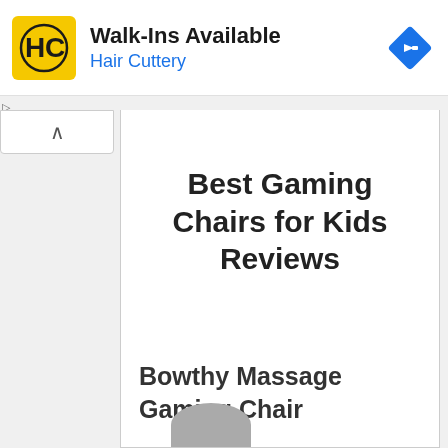[Figure (logo): Hair Cuttery advertisement banner with yellow HC logo, text 'Walk-Ins Available' and 'Hair Cuttery', and a blue navigation diamond icon]
Best Gaming Chairs for Kids Reviews
Bowthy Massage Gaming Chair